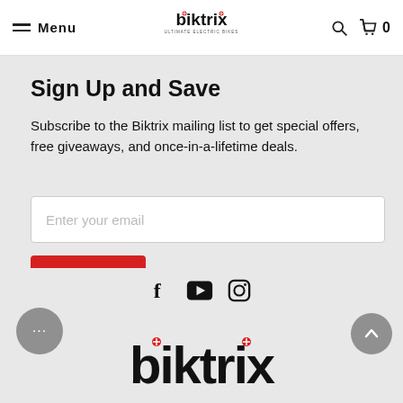Menu | biktrix | Search | Cart 0
Sign Up and Save
Subscribe to the Biktrix mailing list to get special offers, free giveaways, and once-in-a-lifetime deals.
[Figure (screenshot): Email input field with placeholder 'Enter your email' and a red Sign Up button below]
[Figure (logo): Biktrix footer with social icons (Facebook, YouTube, Instagram) and large biktrix logo]